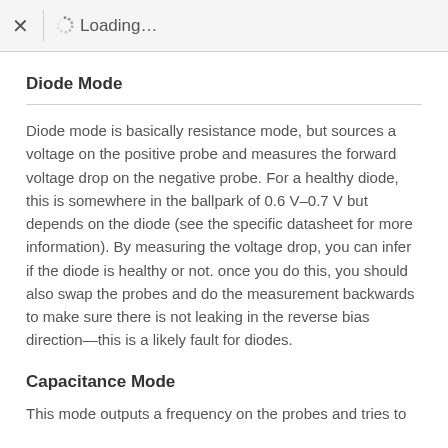× Loading…
Diode Mode
Diode mode is basically resistance mode, but sources a voltage on the positive probe and measures the forward voltage drop on the negative probe. For a healthy diode, this is somewhere in the ballpark of 0.6 V–0.7 V but depends on the diode (see the specific datasheet for more information). By measuring the voltage drop, you can infer if the diode is healthy or not. once you do this, you should also swap the probes and do the measurement backwards to make sure there is not leaking in the reverse bias direction—this is a likely fault for diodes.
Capacitance Mode
This mode outputs a frequency on the probes and tries to